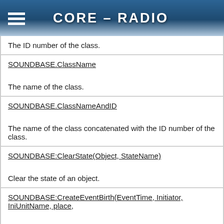CORE - RADIO
The ID number of the class.
SOUNDBASE.ClassName
The name of the class.
SOUNDBASE.ClassNameAndID
The name of the class concatenated with the ID number of the class.
SOUNDBASE:ClearState(Object, StateName)
Clear the state of an object.
SOUNDBASE:CreateEventBirth(EventTime, Initiator, IniUnitName, place,